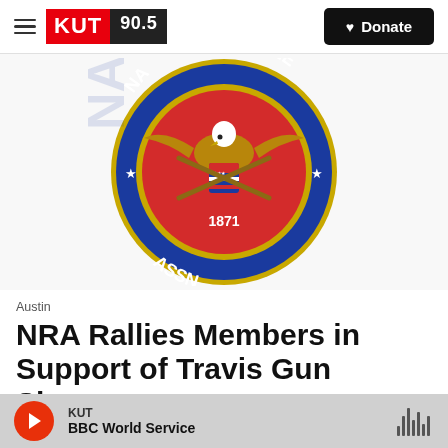KUT 90.5 | Donate
[Figure (logo): NRA (National Rifle Association) seal logo showing an eagle with crossed rifles, shield, and the year 1871, surrounded by blue and gold circular border with the words National Rifle Association]
Austin
NRA Rallies Members in Support of Travis Gun Shows
KUT | BBC World Service